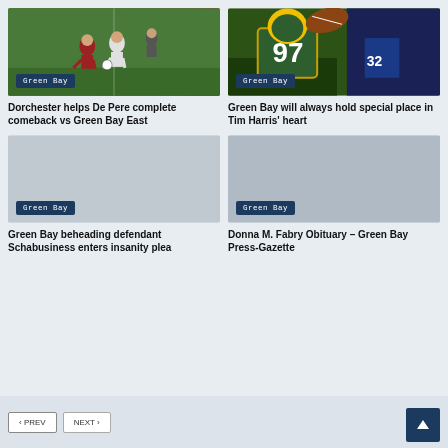[Figure (photo): Soccer players on field - Green Bay tag]
Dorchester helps De Pere complete comeback vs Green Bay East
[Figure (photo): Football player wearing #97 jersey - Green Bay tag]
Green Bay will always hold special place in Tim Harris' heart
[Figure (photo): Empty/placeholder image - Green Bay tag]
Green Bay beheading defendant Schabusiness enters insanity plea
[Figure (photo): Empty/placeholder image - Green Bay tag]
Donna M. Fabry Obituary – Green Bay Press-Gazette
< PREV   NEXT >